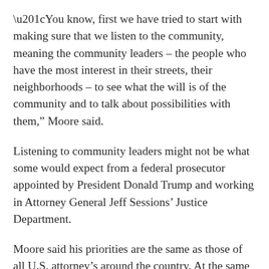“You know, first we have tried to start with making sure that we listen to the community, meaning the community leaders – the people who have the most interest in their streets, their neighborhoods – to see what the will is of the community and to talk about possibilities with them,” Moore said.
Listening to community leaders might not be what some would expect from a federal prosecutor appointed by President Donald Trump and working in Attorney General Jeff Sessions’ Justice Department.
Moore said his priorities are the same as those of all U.S. attorney’s around the country. At the same time, his jurisdiction is facing some particular issues, he said. Read more.